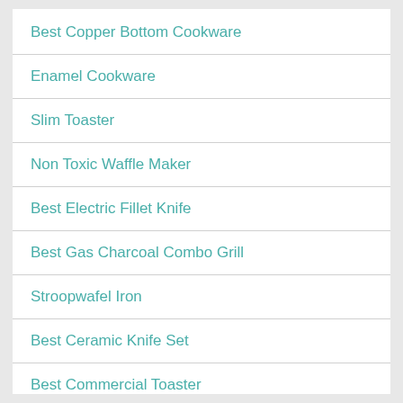Best Copper Bottom Cookware
Enamel Cookware
Slim Toaster
Non Toxic Waffle Maker
Best Electric Fillet Knife
Best Gas Charcoal Combo Grill
Stroopwafel Iron
Best Ceramic Knife Set
Best Commercial Toaster